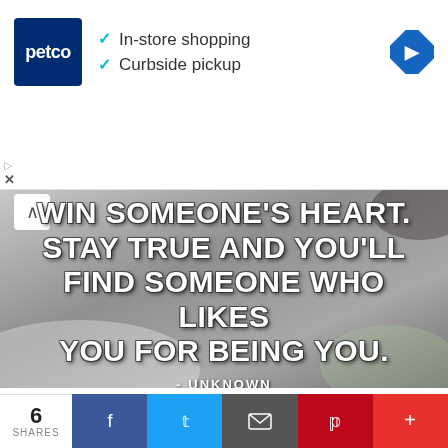[Figure (screenshot): Petco advertisement banner showing Petco logo with checkmarks for 'In-store shopping' and 'Curbside pickup', and a blue navigation diamond icon on the right]
[Figure (photo): Inspirational quote image over a photo background: 'WIN SOMEONE'S HEART. STAY TRUE AND YOU'LL FIND SOMEONE WHO LIKES YOU FOR BEING YOU.' attributed to -UNKNOWN]
U — UNKNOWN
Don't change yourself to win
6 SHARES — Share buttons: Facebook, Twitter, Email, Pinterest, More